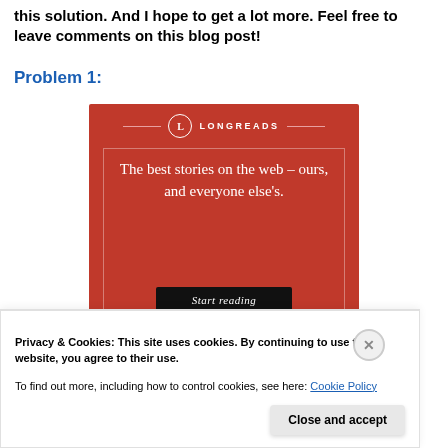this solution. And I hope to get a lot more. Feel free to leave comments on this blog post!
Problem 1:
[Figure (other): Longreads advertisement banner on a red background. Shows the Longreads logo with a circle containing 'L', horizontal lines, and the brand name 'LONGREADS'. Tagline reads: 'The best stories on the web – ours, and everyone else's.' Black 'Start reading' button at the bottom.]
Privacy & Cookies: This site uses cookies. By continuing to use this website, you agree to their use.
To find out more, including how to control cookies, see here: Cookie Policy